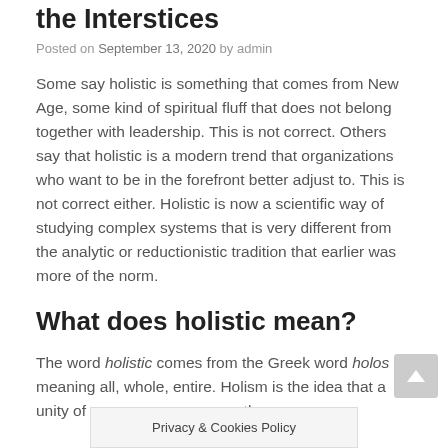the Interstices
Posted on September 13, 2020 by admin
Some say holistic is something that comes from New Age, some kind of spiritual fluff that does not belong together with leadership. This is not correct. Others say that holistic is a modern trend that organizations who want to be in the forefront better adjust to. This is not correct either. Holistic is now a scientific way of studying complex systems that is very different from the analytic or reductionistic tradition that earlier was more of the norm.
What does holistic mean?
The word holistic comes from the Greek word holos meaning all, whole, entire. Holism is the idea that a unity of p… an the
Privacy & Cookies Policy